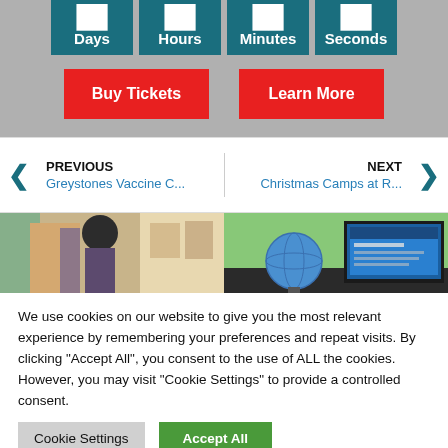[Figure (screenshot): Countdown timer showing Days, Hours, Minutes, Seconds boxes in teal on gray background with Buy Tickets and Learn More red buttons below]
[Figure (screenshot): Navigation strip with PREVIOUS (Greystones Vaccine C...) and NEXT (Christmas Camps at R...) links with teal arrows]
[Figure (photo): Two side-by-side photos: left shows people in a hallway, right shows a globe and computer screen]
We use cookies on our website to give you the most relevant experience by remembering your preferences and repeat visits. By clicking "Accept All", you consent to the use of ALL the cookies. However, you may visit "Cookie Settings" to provide a controlled consent.
Cookie Settings | Accept All